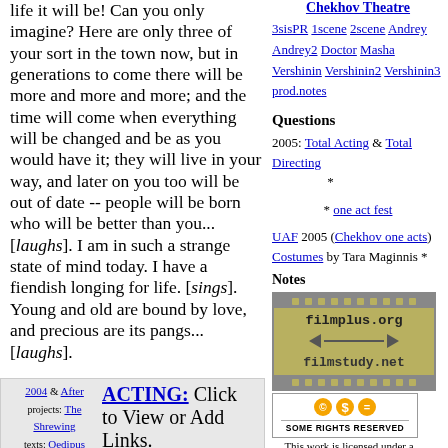life it will be! Can you only imagine? Here are only three of your sort in the town now, but in generations to come there will be more and more and more; and the time will come when everything will be changed and be as you would have it; they will live in your way, and later on you too will be out of date -- people will be born who will be better than you... [laughs]. I am in such a strange state of mind today. I have a fiendish longing for life. [sings]. Young and old are bound by love, and precious are its pangs... [laughs].
Chekhov Theatre
3sisPR 1scene 2scene Andrey Andrey2 Doctor Masha Vershinin Vershinin2 Vershinin3 prod.notes
Questions
2005: Total Acting & Total Directing *
* one act fest
UAF 2005 (Chekhov one acts) Costumes by Tara Maginnis *
Notes
[Figure (illustration): filmplus.org and filmstudy.net logo with filmstrip border and arrow graphic on olive/tan background]
[Figure (logo): Creative Commons Some Rights Reserved badge/logo]
This work is licensed under a Creative Commons License.
2004 & After projects: The Shrewing texts: Oedipus
ACTING: Click to View or Add Links.